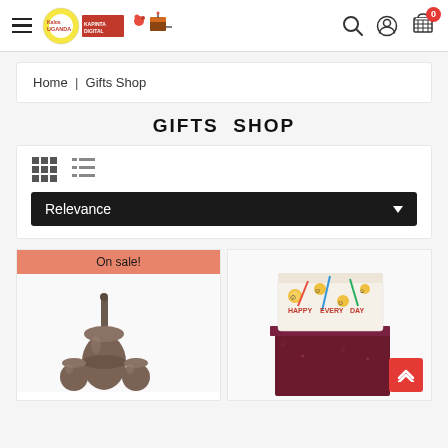Kalos Uganda - Gifts Shop
Home | Gifts Shop
GIFTS SHOP
Relevance (sort dropdown)
[Figure (photo): Ceramic toilet brush holder set with brown glaze, shown with 'On sale!' banner overlay]
[Figure (photo): Decorative gift box with emoji/smiley face pattern placed on top of a dark maroon/burgundy fabric storage box]